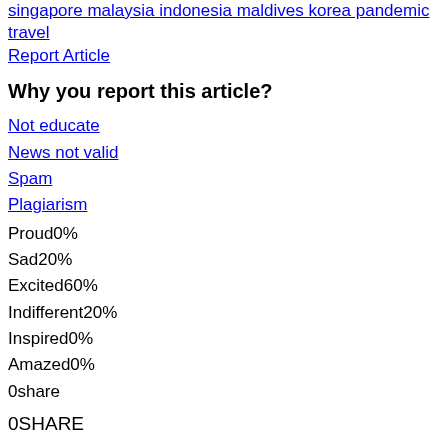singapore malaysia indonesia maldives korea pandemic travel
Report Article
Why you report this article?
Not educate
News not valid
Spam
Plagiarism
Proud0%
Sad20%
Excited60%
Indifferent20%
Inspired0%
Amazed0%
0share
0SHARE